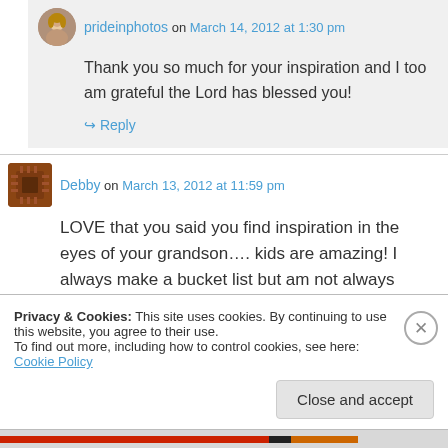prideinphotos on March 14, 2012 at 1:30 pm
Thank you so much for your inspiration and I too am grateful the Lord has blessed you!
↳ Reply
Debby on March 13, 2012 at 11:59 pm
LOVE that you said you find inspiration in the eyes of your grandson…. kids are amazing! I always make a bucket list but am not always
Privacy & Cookies: This site uses cookies. By continuing to use this website, you agree to their use.
To find out more, including how to control cookies, see here: Cookie Policy
Close and accept